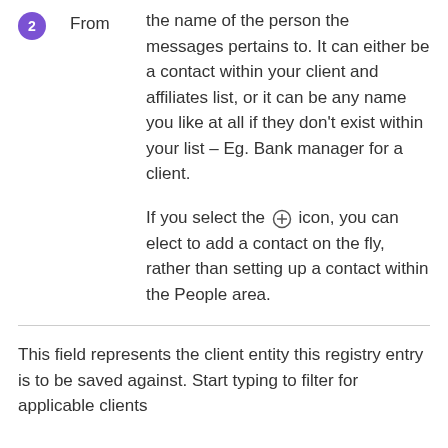2 From — the name of the person the messages pertains to. It can either be a contact within your client and affiliates list, or it can be any name you like at all if they don't exist within your list – Eg. Bank manager for a client. If you select the ⊕ icon, you can elect to add a contact on the fly, rather than setting up a contact within the People area.
This field represents the client entity this registry entry is to be saved against. Start typing to filter for applicable clients